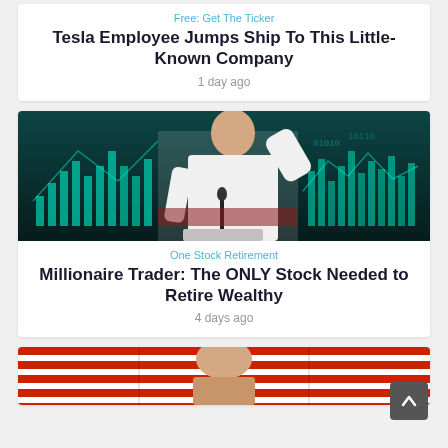Free: Get The Ticker
Tesla Employee Jumps Ship To This Little-Known Company
1 day ago
[Figure (photo): Man in white shirt speaking at a podium with microphone, finance stock chart graphics overlaid in teal/blue background]
One Stock Retirement
Millionaire Trader: The ONLY Stock Needed to Retire Wealthy
4 days ago
[Figure (photo): Partial image of a person in front of American flags, partially visible at bottom of page]